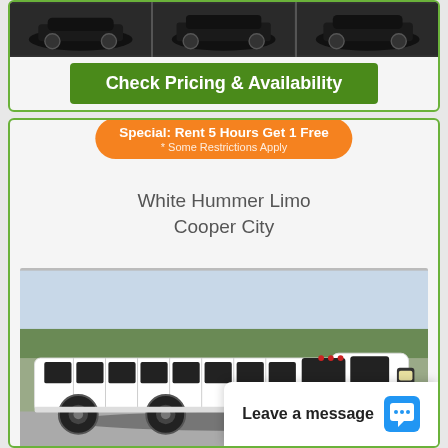[Figure (photo): Three dark-colored luxury vehicles/cars shown as thumbnails in a row at the top of the page]
Check Pricing & Availability
Special: Rent 5 Hours Get 1 Free
* Some Restrictions Apply
White Hummer Limo
Cooper City
[Figure (photo): White stretch Hummer limousine parked outdoors with trees in background]
[Figure (photo): Interior and detail thumbnail photos of the limousine]
View
Leave a message